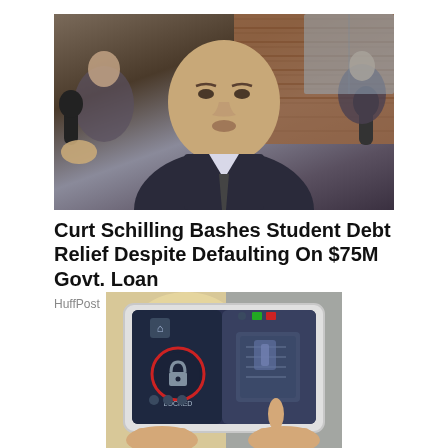[Figure (photo): Man in suit being interviewed by reporters with microphones in front of a brick building]
Curt Schilling Bashes Student Debt Relief Despite Defaulting On $75M Govt. Loan
HuffPost
[Figure (photo): Hands holding a tablet device showing a smart lock application with a lock icon on the screen]